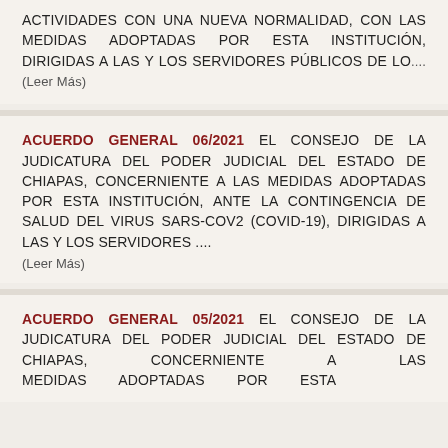ACTIVIDADES CON UNA NUEVA NORMALIDAD, CON LAS MEDIDAS ADOPTADAS POR ESTA INSTITUCIÓN, DIRIGIDAS A LAS Y LOS SERVIDORES PÚBLICOS DE LO....(Leer Más)
ACUERDO GENERAL 06/2021 EL CONSEJO DE LA JUDICATURA DEL PODER JUDICIAL DEL ESTADO DE CHIAPAS, CONCERNIENTE A LAS MEDIDAS ADOPTADAS POR ESTA INSTITUCIÓN, ANTE LA CONTINGENCIA DE SALUD DEL VIRUS SARS-CoV2 (COVID-19), DIRIGIDAS A LAS Y LOS SERVIDORES .... (Leer Más)
ACUERDO GENERAL 05/2021 EL CONSEJO DE LA JUDICATURA DEL PODER JUDICIAL DEL ESTADO DE CHIAPAS, CONCERNIENTE A LAS MEDIDAS ADOPTADAS POR ESTA